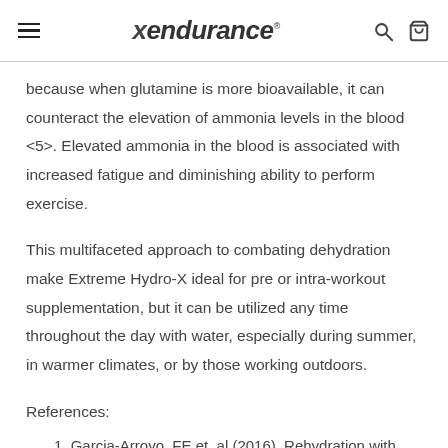xendurance
because when glutamine is more bioavailable, it can counteract the elevation of ammonia levels in the blood <5>. Elevated ammonia in the blood is associated with increased fatigue and diminishing ability to perform exercise.
This multifaceted approach to combating dehydration make Extreme Hydro-X ideal for pre or intra-workout supplementation, but it can be utilized any time throughout the day with water, especially during summer, in warmer climates, or by those working outdoors.
References:
1. Garcia-Arroyo, FE et. al (2016). Rehydration with